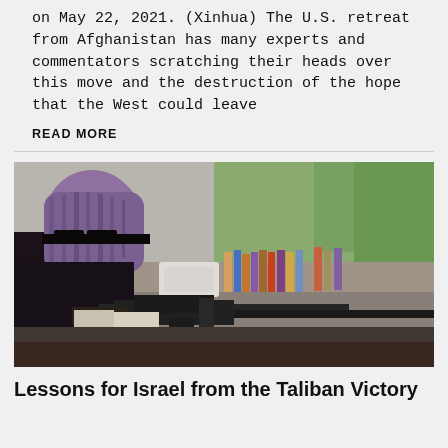on May 22, 2021. (Xinhua) The U.S. retreat from Afghanistan has many experts and commentators scratching their heads over this move and the destruction of the hope that the West could leave
READ MORE
[Figure (photo): A Taliban fighter seen from behind, wearing a purple and gray headscarf and black clothing, manning a machine gun mounted on a vehicle. In the background, a group of civilians stand on a street lined with trees.]
Lessons for Israel from the Taliban Victory